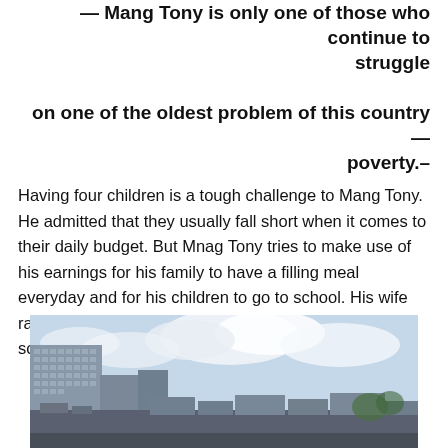— Mang Tony is only one of those who continue to struggle on one of the oldest problem of this country—poverty.–
Having four children is a tough challenge to Mang Tony. He admitted that they usually fall short when it comes to their daily budget. But Mnag Tony tries to make use of his earnings for his family to have a filling meal everyday and for his children to go to school. His wife raised a small sari-sari store in their small house to somehow lessen their financial problem.
[Figure (photo): Urban cityscape photo showing a mix of multi-story buildings and lower structures under a cloudy sky, depicting a Philippine city scene with poverty context.]